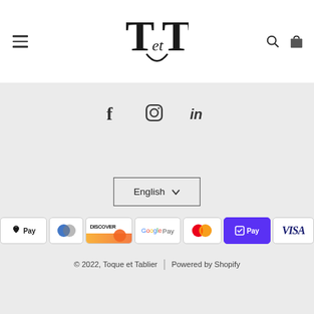[Figure (logo): T&T stylized logo with serif letters and ampersand]
[Figure (infographic): Social media icons: Facebook (f), Instagram, LinkedIn (in)]
[Figure (infographic): Language selector dropdown showing 'English' with chevron]
[Figure (infographic): Payment method badges: Apple Pay, Diners Club, Discover, Google Pay, Mastercard, Shop Pay, Visa]
© 2022, Toque et Tablier | Powered by Shopify